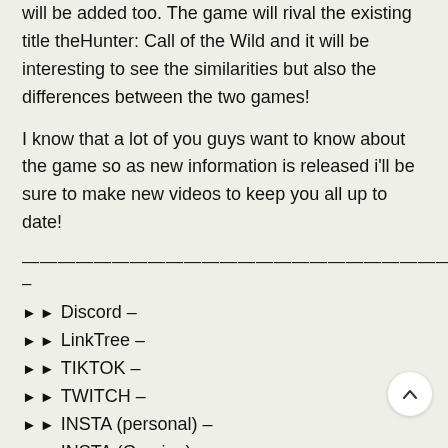will be added too. The game will rival the existing title theHunter: Call of the Wild and it will be interesting to see the similarities but also the differences between the two games!
I know that a lot of you guys want to know about the game so as new information is released i'll be sure to make new videos to keep you all up to date!
————————————————————————————–
► ► Discord –
► ► LinkTree –
► ► TIKTOK –
► ► TWITCH –
► ► INSTA (personal) –
► ► INSTA (Gaming) –
► ► TWITTER –